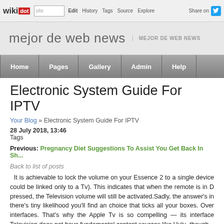wiki dot | site | Edit | History | Tags | Source | Explore | Share on Twitter
mejor de web news | MEJOR DE WEB NEWS
Home | Pages | Gallery | Admin | Help
Electronic System Guide For IPTV
Your Blog » Electronic System Guide For IPTV
28 July 2018, 13:46
Tags
Previous: Pregnancy Diet Suggestions To Assist You Get Back In Sh...
Back to list of posts
It is achievable to lock the volume on your Essence 2 to a single device could be linked only to a Tv). This indicates that when the remote is in D pressed, the Television volume will still be activated.Sadly, the answer's in there's tiny likelihood you'll find an choice that ticks all your boxes. Over interfaces. That's why the Apple Tv is so compelling — its interface Television does not have fundamental content sources like Hulu, though